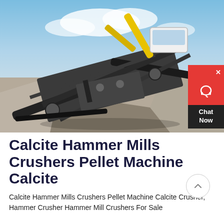[Figure (photo): Outdoor industrial crushing and screening machinery with a yellow excavator arm visible at top, mounted on a mobile unit with conveyor belts, surrounded by sand/gravel piles. Blue sky with clouds in background. A red 'Chat Now' widget is overlaid at top right.]
Calcite Hammer Mills Crushers Pellet Machine Calcite
Calcite Hammer Mills Crushers Pellet Machine Calcite Crusher, Hammer Crusher Hammer Mill Crushers For Sale